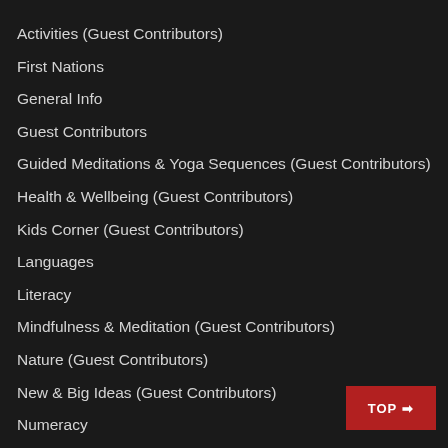Activities (Guest Contributors)
First Nations
General Info
Guest Contributors
Guided Meditations & Yoga Sequences (Guest Contributors)
Health & Wellbeing (Guest Contributors)
Kids Corner (Guest Contributors)
Languages
Literacy
Mindfulness & Meditation (Guest Contributors)
Nature (Guest Contributors)
New & Big Ideas (Guest Contributors)
Numeracy